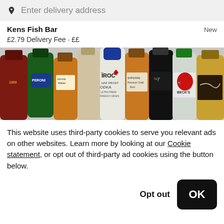Enter delivery address
Kens Fish Bar  New
£2.79 Delivery Fee • ££
[Figure (photo): Row of assorted alcohol bottles including 1808, Peroni, Johnnie Walker, CÎROC Vodka, No.7, Beck's, and others on an icy surface]
This website uses third-party cookies to serve you relevant ads on other websites. Learn more by looking at our Cookie statement, or opt out of third-party ad cookies using the button below.
Opt out  OK